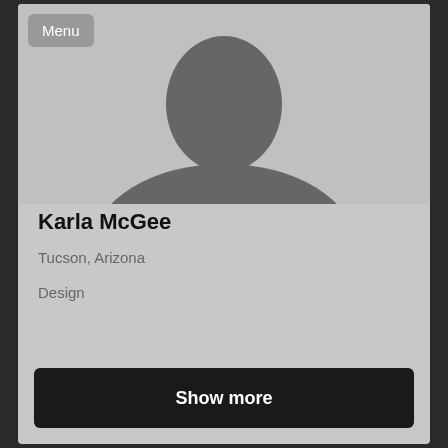[Figure (illustration): Generic silhouette placeholder avatar of a person (head and shoulders), gray on light gray background]
Menu
Karla McGee
Tucson, Arizona
Design
Show more